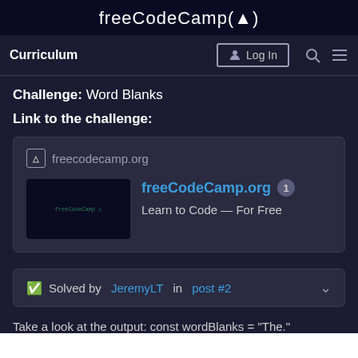freeCodeCamp(🔥)
Curriculum   Log In
Challenge: Word Blanks
Link to the challenge:
[Figure (screenshot): Link card preview for freecodecamp.org showing freeCodeCamp.org with thumbnail and tagline 'Learn to Code — For Free']
✅ Solved by JeremyLT in post #2
Take a look at the output: const wordBlanks = "The."